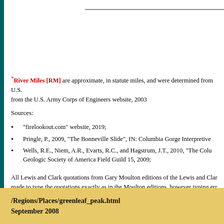*River Miles [RM] are approximate, in statute miles, and were determined from US Army Corps of Engineers website, 2003
Sources:
"firelookout.com" website, 2019;
Pringle, P., 2009, "The Bonneville Slide", IN: Columbia Gorge Interpretive
Wells, R.E., Niem, A.R., Evarts, R.C., and Hagstrum, J.T., 2010, "The Colu Geologic Society of America Field Guild 15, 2009;
All Lewis and Clark quotations from Gary Moulton editions of the Lewis and Clark made to type the quotations exactly as in the Moulton editions, however typing err interpretation from variety of sources, including this website author.
/Regions/Places/greenleaf_peak.html
September 2008